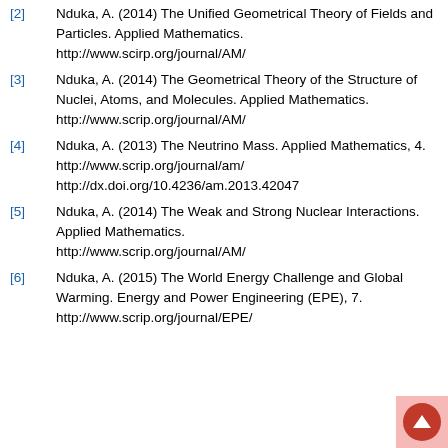[2] Nduka, A. (2014) The Unified Geometrical Theory of Fields and Particles. Applied Mathematics. http://www.scirp.org/journal/AM/
[3] Nduka, A. (2014) The Geometrical Theory of the Structure of Nuclei, Atoms, and Molecules. Applied Mathematics. http://www.scrip.org/journal/AM/
[4] Nduka, A. (2013) The Neutrino Mass. Applied Mathematics, 4. http://www.scrip.org/journal/am/ http://dx.doi.org/10.4236/am.2013.42047
[5] Nduka, A. (2014) The Weak and Strong Nuclear Interactions. Applied Mathematics. http://www.scrip.org/journal/AM/
[6] Nduka, A. (2015) The World Energy Challenge and Global Warming. Energy and Power Engineering (EPE), 7. http://www.scrip.org/journal/EPE/